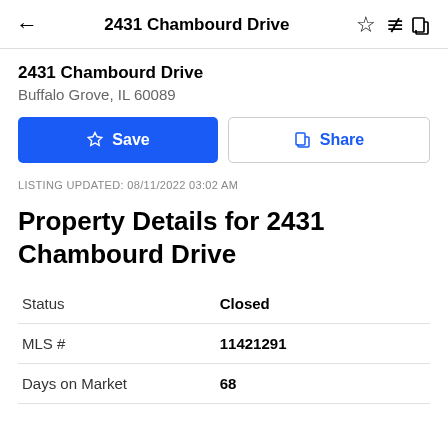2431 Chambourd Drive
2431 Chambourd Drive
Buffalo Grove, IL 60089
LISTING UPDATED: 08/11/2022 03:02 AM
Property Details for 2431 Chambourd Drive
|  |  |
| --- | --- |
| Status | Closed |
| MLS # | 11421291 |
| Days on Market | 68 |